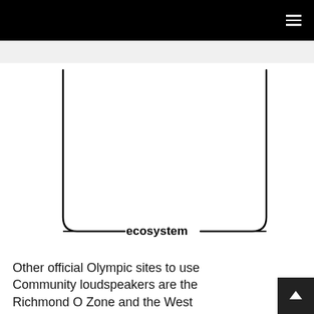[Figure (schematic): A U-shaped or rounded-bottom rectangular outline diagram with the label 'ecosystem' centered along the bottom edge, indicated by horizontal lines extending left and right from the text.]
Other official Olympic sites to use Community loudspeakers are the Richmond O Zone and the West Vancouver Spirit Square Community Centre. For 17 months the